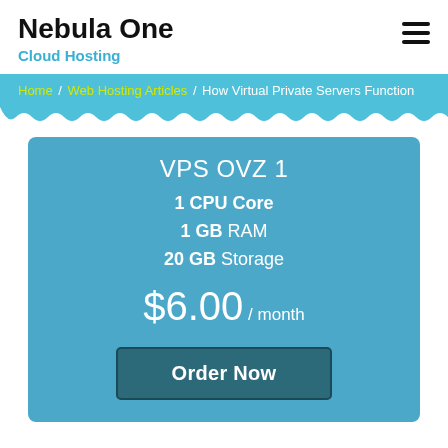Nebula One
Cloud Hosting
Home / Web Hosting Articles / How Virtual Private Servers Function
VPS OVZ 1
1 CPU Core
1 GB RAM
20 GB Storage
$6.00 / month
Order Now